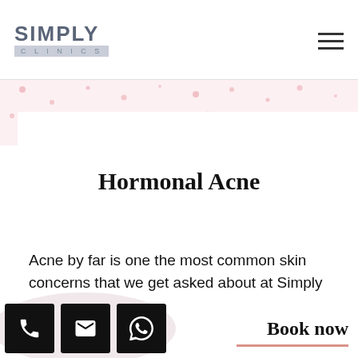[Figure (logo): Simply Clinics logo with bold text SIMPLY and subtitle CLINICS on a grey background bar]
[Figure (illustration): Pink polka-dot decorative banner background with light pink dots scattered on white/light pink background]
Hormonal Acne
Acne by far is one the most common skin concerns that we get asked about at Simply Clinics. Acne can appear in many forms and be an effect of...
[Figure (infographic): Bottom bar with three black square icon buttons: phone, email, WhatsApp; and Book now text link with pink underline on the right]